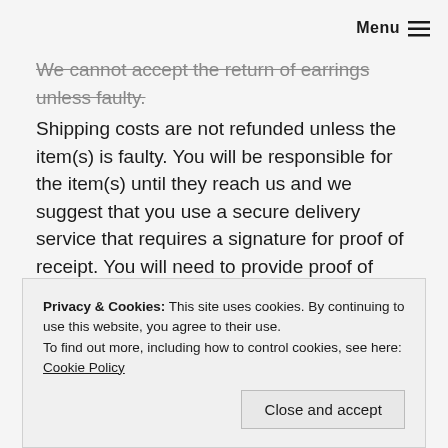Menu
We cannot accept the return of earrings unless faulty. Shipping costs are not refunded unless the item(s) is faulty. You will be responsible for the item(s) until they reach us and we suggest that you use a secure delivery service that requires a signature for proof of receipt. You will need to provide proof of purchase from Wisteria London in order to receive a refund.
How long do I have to return an item?
For UK customers items must be returned within 14 days
Privacy & Cookies: This site uses cookies. By continuing to use this website, you agree to their use. To find out more, including how to control cookies, see here: Cookie Policy
Close and accept